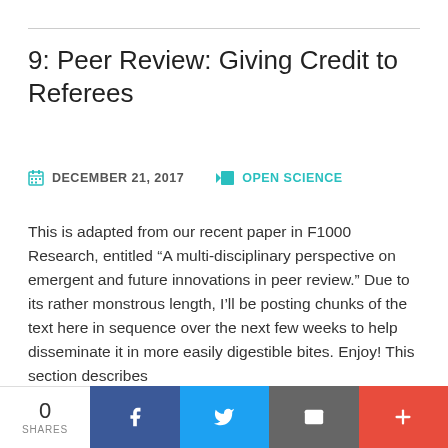9: Peer Review: Giving Credit to Referees
DECEMBER 21, 2017    OPEN SCIENCE
This is adapted from our recent paper in F1000 Research, entitled “A multi-disciplinary perspective on emergent and future innovations in peer review.” Due to its rather monstrous length, I’ll be posting chunks of the text here in sequence over the next few weeks to help disseminate it in more easily digestible bites. Enjoy! This section describes
Privacy & Cookies: This site uses cookies. By continuing to use this website, you agree to their use.
To find out more, including how to control cookies, see here: Cookie Policy
0 SHARES